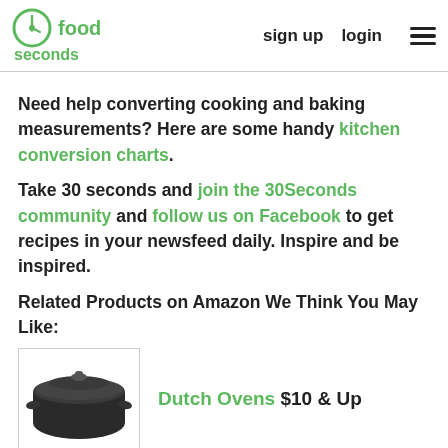30 seconds food | sign up | login | menu
Need help converting cooking and baking measurements? Here are some handy kitchen conversion charts.
Take 30 seconds and join the 30Seconds community and follow us on Facebook to get recipes in your newsfeed daily. Inspire and be inspired.
Related Products on Amazon We Think You May Like:
[Figure (photo): A black cast iron Dutch oven with lid]
Dutch Ovens  $10 & Up